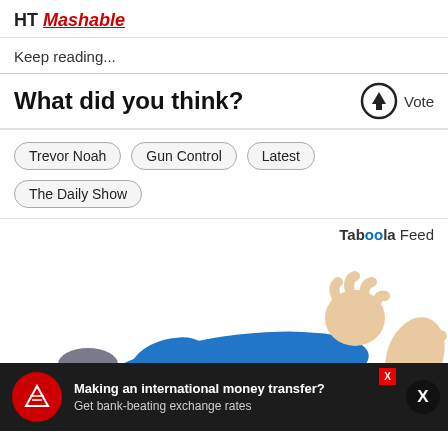HT Mashable
Keep reading...
What did you think?
Trevor Noah
Gun Control
Latest
The Daily Show
Taboola Feed
[Figure (illustration): Cartoon illustration of a person lying down in blue clothing, with feet raised, appearing dizzy or falling]
Making an international money transfer? Get bank-beating exchange rates